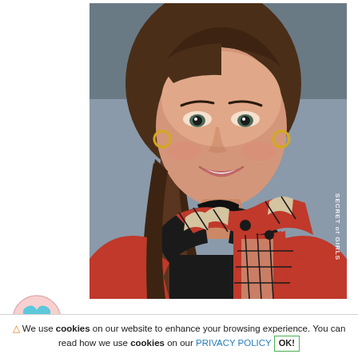[Figure (photo): Portrait photo of a woman with long brown hair smiling, wearing a red coat and a red plaid/houndstooth scarf over a black turtleneck, with gold hoop earrings. Watermark 'SECRET of GIRLS' on the right side.]
⚠ We use cookies on our website to enhance your browsing experience. You can read how we use cookies on our PRIVACY POLICY OK!